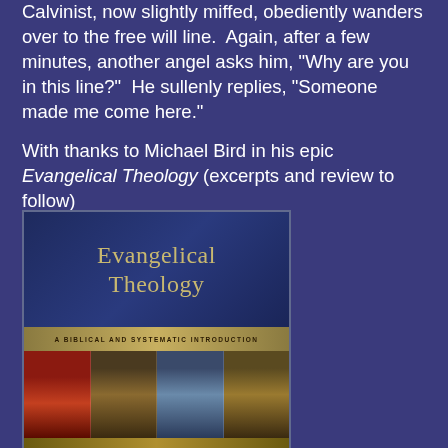Calvinist, now slightly miffed, obediently wanders over to the free will line. Again, after a few minutes, another angel asks him, "Why are you in this line?" He sullenly replies, "Someone made me come here."
With thanks to Michael Bird in his epic Evangelical Theology (excerpts and review to follow)
[Figure (photo): Book cover of 'Evangelical Theology: A Biblical and Systematic Introduction' by Michael F. Bird, featuring stained glass panels with religious figures on a dark blue background with gold title text.]